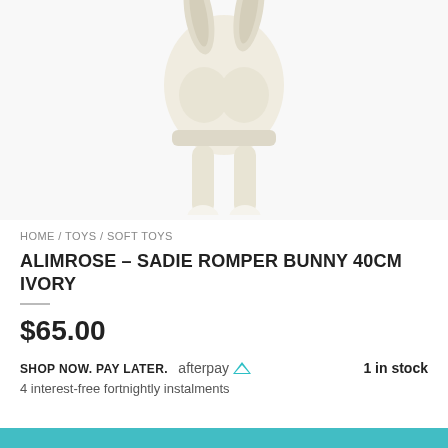[Figure (photo): A stuffed bunny toy in ivory/cream fabric with long legs, white round feet, and a puffy romper outfit, photographed against a white background from torso down]
HOME / TOYS / SOFT TOYS
ALIMROSE – SADIE ROMPER BUNNY 40CM IVORY
$65.00
SHOP NOW. PAY LATER. afterpay  1 in stock
4 interest-free fortnightly instalments